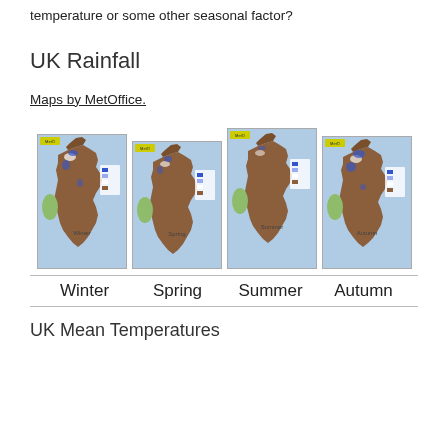temperature or some other seasonal factor?
UK Rainfall
Maps by MetOffice.
[Figure (map): Four UK seasonal rainfall maps (Winter, Spring, Summer, Autumn) by MetOffice, showing rainfall distribution across the UK with blue indicating high rainfall and brown indicating low rainfall.]
Winter    Spring    Summer    Autumn
UK Mean Temperatures